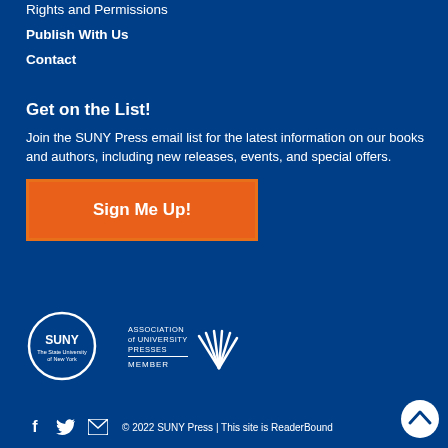Rights and Permissions
Publish With Us
Contact
Get on the List!
Join the SUNY Press email list for the latest information on our books and authors, including new releases, events, and special offers.
[Figure (other): Orange 'Sign Me Up!' button]
[Figure (logo): SUNY - The State University of New York circular logo]
[Figure (logo): Association of University Presses Member logo with fan icon]
© 2022 SUNY Press | This site is ReaderBound